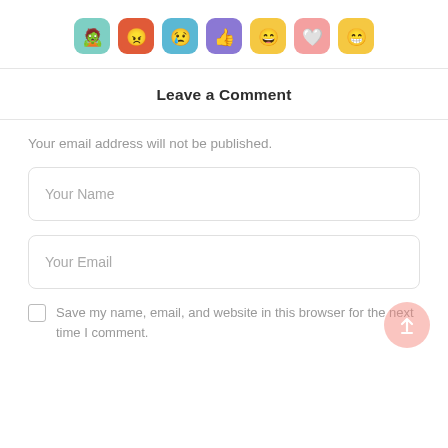[Figure (illustration): Row of 7 emoji reaction icons: zombie/sick face (teal), angry face (red/orange), sad face (blue), thumbs up (blue), happy/smile face (yellow), heart (pink), grinning face (yellow)]
Leave a Comment
Your email address will not be published.
Your Name
Your Email
Save my name, email, and website in this browser for the next time I comment.